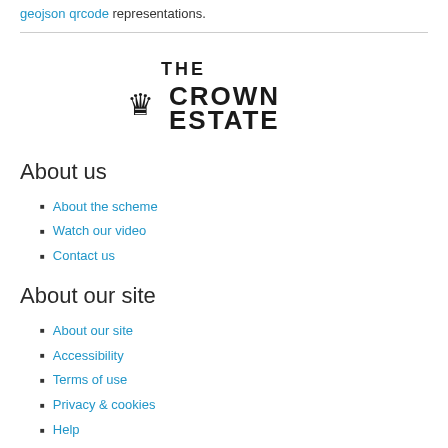geojson qrcode representations.
[Figure (logo): The Crown Estate logo with crown icon]
About us
About the scheme
Watch our video
Contact us
About our site
About our site
Accessibility
Terms of use
Privacy & cookies
Help
Join the conversation
Twitter